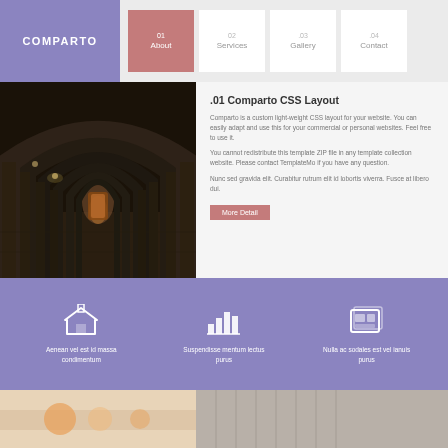COMPARTO
01 About
02 Services
03 Gallery
04 Contact
[Figure (photo): Stone archway corridor with columns, dark interior with warm light at end]
.01 Comparto CSS Layout
Comparto is a custom light-weight CSS layout for your website. You can easily adapt and use this for your commercial or personal websites. Feel free to use it.
You cannot redistribute this template ZIP file in any template collection website. Please contact TemplateMo if you have any question.
Nunc sed gravida elit. Curabitur rutrum elit id lobortis viverra. Fusce at libero dui.
More Detail
Aenean vel est id massa condimentum
Suspendisse mentum lectus purus
Nulla ac sodales est vel ianuis purus
[Figure (photo): Bottom strip with two colored sections]
[Figure (photo): Bottom strip right section]